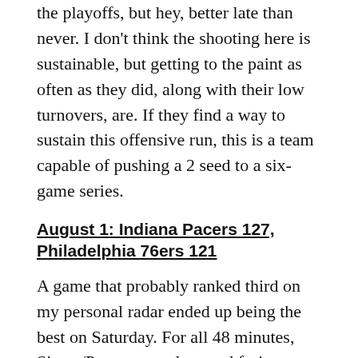the playoffs, but hey, better late than never. I don't think the shooting here is sustainable, but getting to the paint as often as they did, along with their low turnovers, are. If they find a way to sustain this offensive run, this is a team capable of pushing a 2 seed to a six-game series.
August 1: Indiana Pacers 127, Philadelphia 76ers 121
A game that probably ranked third on my personal radar ended up being the best on Saturday. For all 48 minutes, Sixers/Pacers was close and furious, a battle between a known star and a wildly hot role player en route to a game far higher scoring than anyone had the right to anticipate. Like, think about it this way: if someone told you Myles Turner and Victor Oladipo would only play 50 minutes and combine for 30 points, would you have expected the Pacers to have any chance at all in this game?